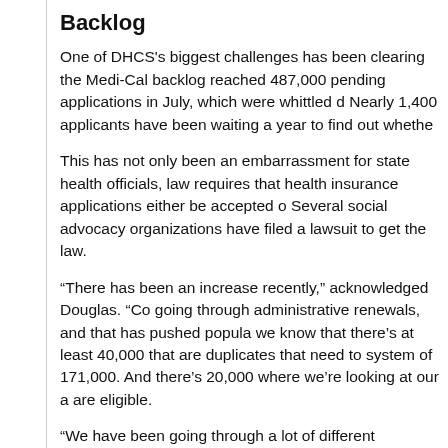Backlog
One of DHCS's biggest challenges has been clearing the Medi-Cal backlog reached 487,000 pending applications in July, which were whittled d Nearly 1,400 applicants have been waiting a year to find out whethe
This has not only been an embarrassment for state health officials, law requires that health insurance applications either be accepted o Several social advocacy organizations have filed a lawsuit to get the law.
“There has been an increase recently,” acknowledged Douglas. “Co going through administrative renewals, and that has pushed popula we know that there’s at least 40,000 that are duplicates that need to system of 171,000. And there’s 20,000 where we’re looking at our a are eligible.
“We have been going through a lot of different enhancements to try cases and bring it down. Our ultimate goal is we want all application required time frame. And we might still always have pending cases, waiting for verification information. But we want to make sure that th stuck and pending because of system problems.”
Renewal
Another challenge for Douglas is getting Medi-Cal recipients to ren